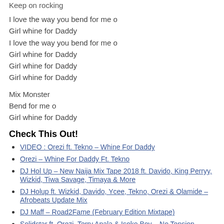Keep on rocking
I love the way you bend for me o
Girl whine for Daddy
I love the way you bend for me o
Girl whine for Daddy
Girl whine for Daddy
Girl whine for Daddy
Mix Monster
Bend for me o
Girl whine for Daddy
Check This Out!
VIDEO : Orezi ft. Tekno – Whine For Daddy
Orezi – Whine For Daddy Ft. Tekno
DJ Hol Up – New Naija Mix Tape 2018 ft. Davido, King Perryy, Wizkid, Tiwa Savage, Timaya & More
DJ Holup ft. Wizkid, Davido, Ycee, Tekno, Orezi & Olamide – Afrobeats Update Mix
DJ Maff – Road2Fame (February Edition Mixtape)
Solidstar ft. Orezi, Terry Apala & Isoko Boy – No Tension